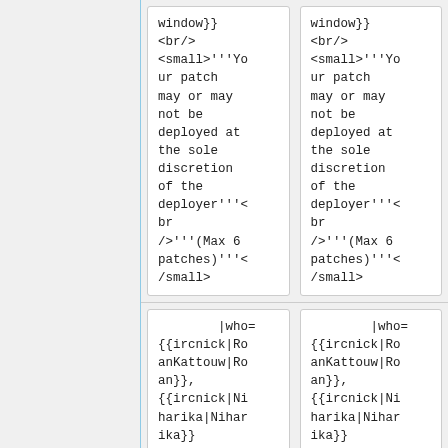window}}
<br/>
<small>'''Your patch may or may not be deployed at the sole discretion of the deployer'''<br />'''(Max 6 patches)'''</small>
window}}
<br/>
<small>'''Your patch may or may not be deployed at the sole discretion of the deployer'''<br />'''(Max 6 patches)'''</small>
|who=
{{ircnick|RoanKattouw|Roan}},
{{ircnick|Niharika|Niharika}}
|who=
{{ircnick|RoanKattouw|Roan}},
{{ircnick|Niharika|Niharika}}